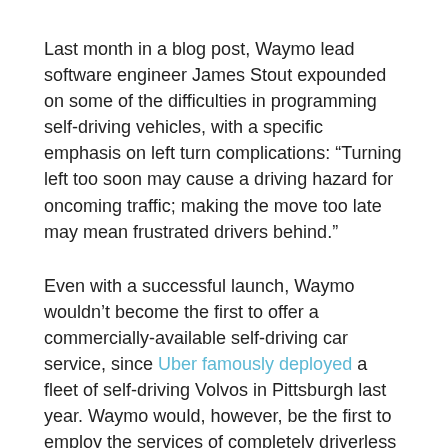Last month in a blog post, Waymo lead software engineer James Stout expounded on some of the difficulties in programming self-driving vehicles, with a specific emphasis on left turn complications: “Turning left too soon may cause a driving hazard for oncoming traffic; making the move too late may mean frustrated drivers behind.”
Even with a successful launch, Waymo wouldn’t become the first to offer a commercially-available self-driving car service, since Uber famously deployed a fleet of self-driving Volvos in Pittsburgh last year. Waymo would, however, be the first to employ the services of completely driverless vehicles for commercial purposes.